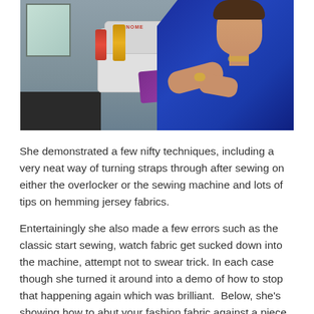[Figure (photo): A woman in a bright blue top using a Janome sewing/overlocker machine, with red and yellow thread spools visible, in a workshop or classroom setting with a window in the background.]
She demonstrated a few nifty techniques, including a very neat way of turning straps through after sewing on either the overlocker or the sewing machine and lots of tips on hemming jersey fabrics.
Entertainingly she also made a few errors such as the classic start sewing, watch fabric get sucked down into the machine, attempt not to swear trick. In each case though she turned it around into a demo of how to stop that happening again which was brilliant. Below, she's showing how to abut your fashion fabric against a piece of scrap fabric